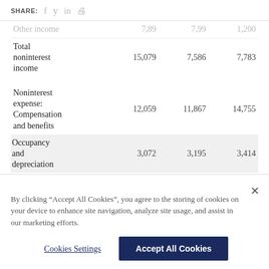SHARE:  f  y  in  🖨
|  |  |  |  |
| --- | --- | --- | --- |
| Other income | 7,89 | 7,99 | 1,200 |
| Total noninterest income | 15,079 | 7,586 | 7,783 |
| Noninterest expense: Compensation and benefits | 12,059 | 11,867 | 14,755 |
| Occupancy and depreciation | 3,072 | 3,195 | 3,414 |
By clicking “Accept All Cookies”, you agree to the storing of cookies on your device to enhance site navigation, analyze site usage, and assist in our marketing efforts.
Cookies Settings
Accept All Cookies